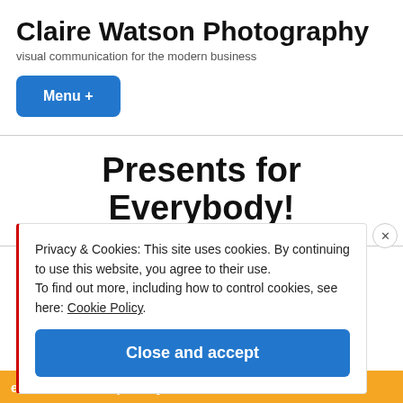Claire Watson Photography
visual communication for the modern business
Menu +
Presents for Everybody!
Privacy & Cookies: This site uses cookies. By continuing to use this website, you agree to their use.
To find out more, including how to control cookies, see here: Cookie Policy
Close and accept
email with more privacy.